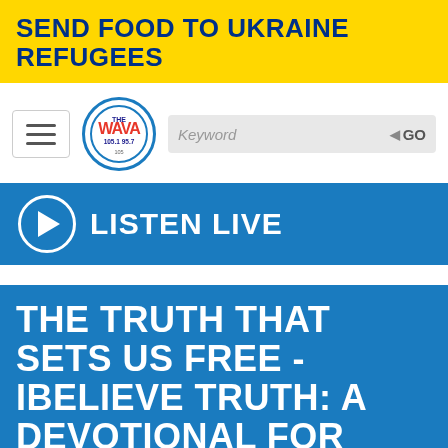SEND FOOD TO UKRAINE REFUGEES
[Figure (logo): WAVA radio station logo circle with blue border, showing 105 WAVA 105.1 95.7]
Keyword GO
LISTEN LIVE
THE TRUTH THAT SETS US FREE - IBELIEVE TRUTH: A DEVOTIONAL FOR WOMEN MAY 24